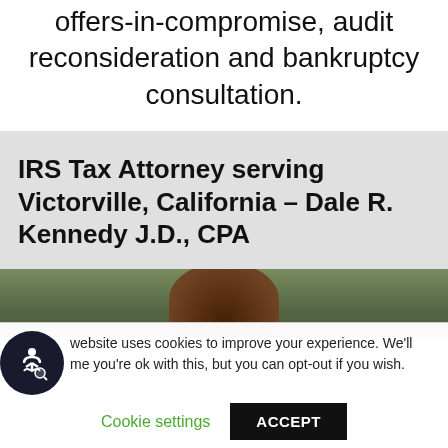offers-in-compromise, audit reconsideration and bankruptcy consultation.
IRS Tax Attorney serving Victorville, California – Dale R. Kennedy J.D., CPA
[Figure (photo): Partial view of a person's head from behind, with green foliage in the background]
website uses cookies to improve your experience. We'll me you're ok with this, but you can opt-out if you wish.
Cookie settings   ACCEPT